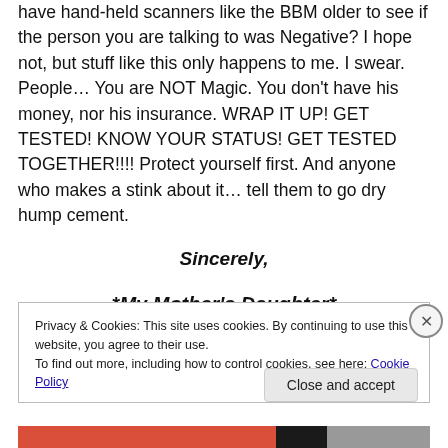have hand-held scanners like the BBM older to see if the person you are talking to was Negative? I hope not, but stuff like this only happens to me. I swear.  People… You are NOT Magic. You don't have his money, nor his insurance. WRAP IT UP! GET TESTED! KNOW YOUR STATUS! GET TESTED TOGETHER!!!! Protect yourself first. And anyone who makes a stink about it… tell them to go dry hump cement.
Sincerely,
~*My Mother's Daughter*~
Privacy & Cookies: This site uses cookies. By continuing to use this website, you agree to their use.
To find out more, including how to control cookies, see here: Cookie Policy
Close and accept